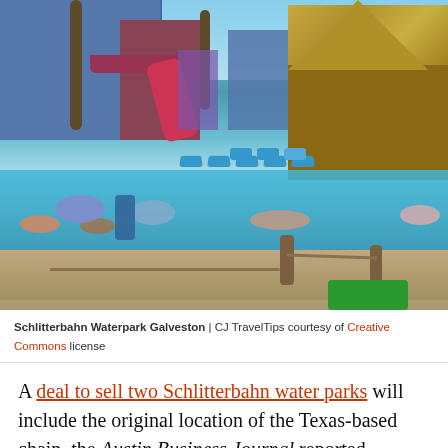[Figure (photo): Aerial/ground-level photo of Schlitterbahn Waterpark Galveston showing a pool with people floating on rafts, blue lounge chairs, palm trees, a thatched-roof structure on the right, a maroon/red water slide, and colorful water park buildings in the background.]
Schlitterbahn Waterpark Galveston | CJ TravelTips courtesy of Creative Commons license
A deal to sell two Schlitterbahn water parks will include the original location of the Texas-based chain, the Austin Business Journal reported Thursday. Ohio-based Cedar Fair Entertainment Company has agreed to purchase the